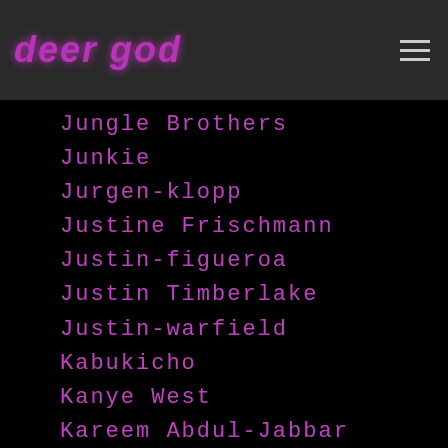deer god
Jungle Brothers
Junkie
Jurgen-klopp
Justine Frischmann
Justin-figueroa
Justin Timberlake
Justin-warfield
Kabukicho
Kanye West
Kareem Abdul-Jabbar
Karel-reisz
Karen O
Karen-o
Karlheinz-stockhausen
Kate Evans
Kate Moss